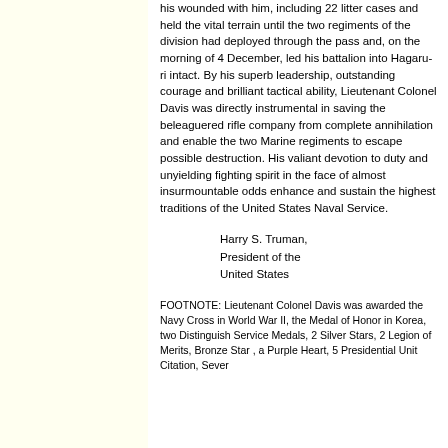his wounded with him, including 22 litter cases and held the vital terrain until the two regiments of the division had deployed through the pass and, on the morning of 4 December, led his battalion into Hagaru-ri intact. By his superb leadership, outstanding courage and brilliant tactical ability, Lieutenant Colonel Davis was directly instrumental in saving the beleaguered rifle company from complete annihilation and enable the two Marine regiments to escape possible destruction. His valiant devotion to duty and unyielding fighting spirit in the face of almost insurmountable odds enhance and sustain the highest traditions of the United States Naval Service.
Harry S. Truman, President of the United States
FOOTNOTE: Lieutenant Colonel Davis was awarded the Navy Cross in World War II, the Medal of Honor in Korea, two Distinguish Service Medals, 2 Silver Stars, 2 Legion of Merits, Bronze Star , a Purple Heart, 5 Presidential Unit Citation, Sever...